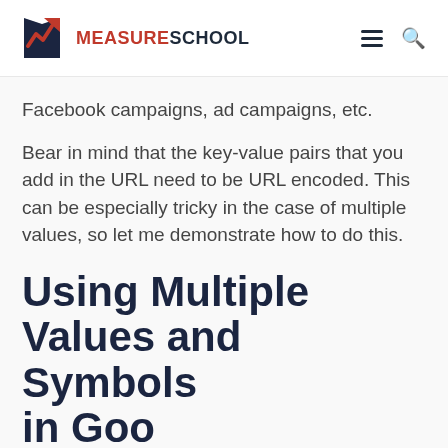MEASURESCHOOL
Facebook campaigns, ad campaigns, etc.
Bear in mind that the key-value pairs that you add in the URL need to be URL encoded. This can be especially tricky in the case of multiple values, so let me demonstrate how to do this.
Using Multiple Values and Symbols in Google Shi...